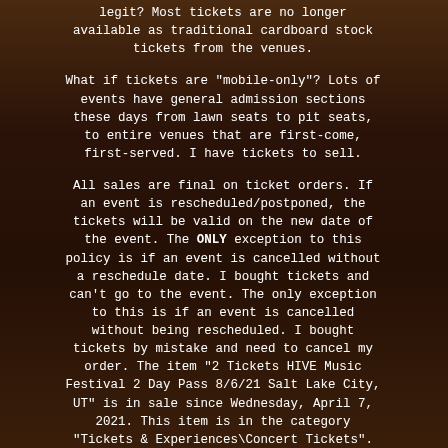legit? Most tickets are no longer available as traditional cardboard stock tickets from the venues.

What if tickets are "mobile-only"? Lots of events have general admission sections these days from lawn seats to pit seats, to entire venues that are first-come, first-served. I have tickets to sell.

All sales are final on ticket orders. If an event is rescheduled/postponed, the tickets will be valid on the new date of the event. The ONLY exception to this policy is if an event is cancelled without a reschedule date. I bought tickets and can't go to the event. The only exception to this is if an event is cancelled without being rescheduled. I bought tickets by mistake and need to cancel my order. The item "2 Tickets HIVE Music Festival 2 Day Pass 8/6/21 Salt Lake City, UT" is in sale since Wednesday, April 7, 2021. This item is in the category "Tickets & Experiences\Concert Tickets". The seller is "ticketclub" and is located in Hartford, CT. This item can be shipped worldwide.